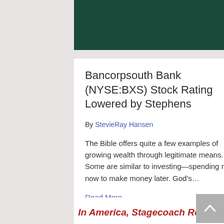[Figure (other): Dark green header bar background]
Bancorpsouth Bank (NYSE:BXS) Stock Rating Lowered by Stephens
By StevieRay Hansen
The Bible offers quite a few examples of growing wealth through legitimate means. Some are similar to investing—spending money now to make money later. God's…
Read More
In America, Stagecoach Robs YOU!!
[Figure (other): Scroll to top button with upward arrow]